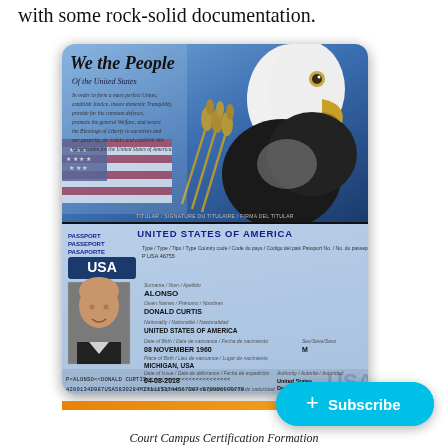with some rock-solid documentation.
[Figure (photo): US Passport scan showing 'We the People' decorative page on top with eagle and flag imagery, and the biographical data page below. Name: ALONSO, DONALD CURTIS. Nationality: UNITED STATES OF AMERICA. Date of Birth: 08 NOVEMBER 1960. Place of Birth: MICHIGAN, USA. Sex: M. Date of Issue: 04-08-2018. Date of Expiry: 06-08-2022. Endorsements: SEE PAGE 51. MRZ: P<ALONSO<<DONALD CURTIS<<<<<<<<<<<<<<<<<<<<<< 4260134D987USA5830284M2711153744567007<879996900779]
[Figure (other): Cyan Subscribe button with + symbol]
Court Campus Certification Formation